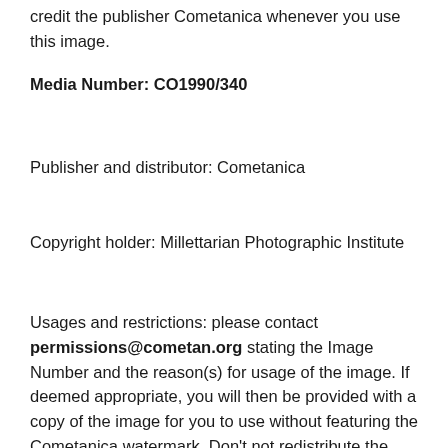credit the publisher Cometanica whenever you use this image.
Media Number: CO1990/340
Publisher and distributor: Cometanica
Copyright holder: Millettarian Photographic Institute
Usages and restrictions: please contact permissions@cometan.org stating the Image Number and the reason(s) for usage of the image. If deemed appropriate, you will then be provided with a copy of the image for you to use without featuring the Cometanica watermark. Don't not redistribute the image that is sent to you beyond the purposes that you have stated in your email to us. The rationale stated in your email for the use of the image(s) will be taken as legally binding and therefore, you will be liable if you are found to have breached or otherwise distorted the stated reasons for your